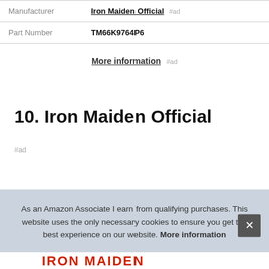| Manufacturer | Iron Maiden Official #ad |
| Part Number | TM66K9764P6 |
More information #ad
10. Iron Maiden Official
#ad
As an Amazon Associate I earn from qualifying purchases. This website uses the only necessary cookies to ensure you get the best experience on our website. More information
[Figure (logo): Iron Maiden logo text partially visible at bottom of page]